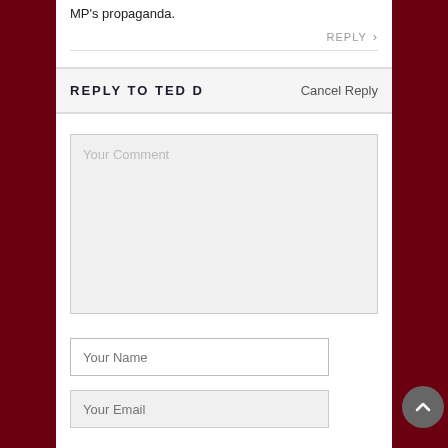MP's propaganda.
REPLY >
REPLY TO TED D
Cancel Reply
Your Comment
Your Name
Your Email